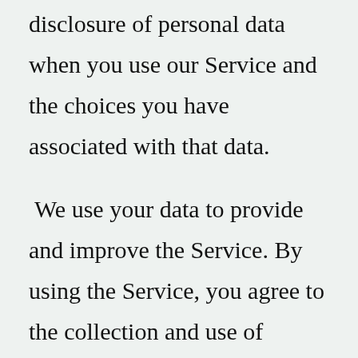disclosure of personal data when you use our Service and the choices you have associated with that data.
We use your data to provide and improve the Service. By using the Service, you agree to the collection and use of information in accordance with this policy. Unless otherwise defined in this Privacy Policy, terms used in this Privacy Policy have the same meanings as in our